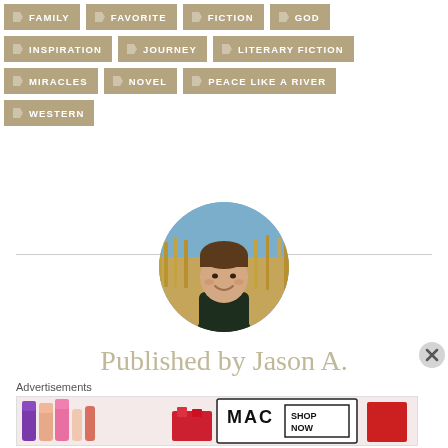FAMILY
FAVORITE
FICTION
GOD
INSPIRATION
JOURNEY
LITERARY FICTION
MIRACLES
NOVEL
PEACE LIKE A RIVER
WESTERN
[Figure (photo): Circular author headshot of a young man smiling, standing in front of a field of tall golden grass/corn stalks with a blue sky background.]
Published by Jason A.
Advertisements
[Figure (photo): MAC cosmetics advertisement banner showing lipsticks in purple, peach, pink and red colors, with MAC logo and SHOP NOW text.]